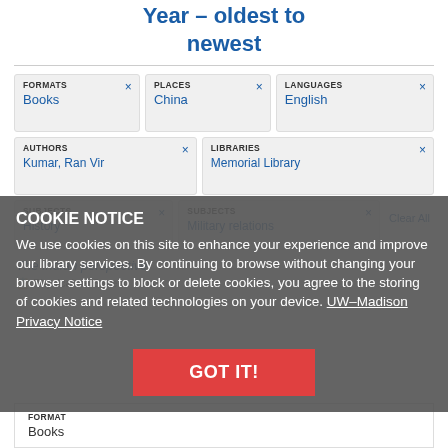Year – oldest to newest
FORMATS Books × | PLACES China × | LANGUAGES English ×
AUTHORS Kumar, Ran Vir × | LIBRARIES Memorial Library ×
SUBJECTS History × | SUBJECTS Military relations × | Clear All
COOKIE NOTICE
We use cookies on this site to enhance your experience and improve our library services. By continuing to browse without changing your browser settings to block or delete cookies, you agree to the storing of cookies and related technologies on your device. UW–Madison Privacy Notice
GOT IT!
The Indian perspective
Physical | Save to Lists
| FORMAT |
| --- |
| Books |